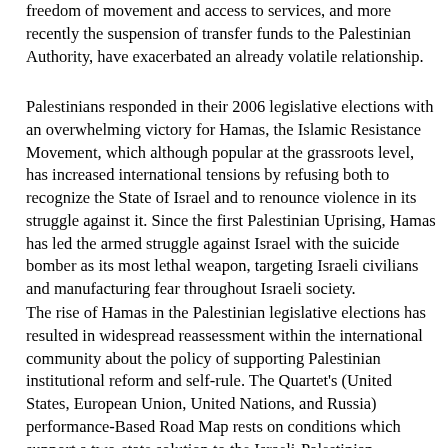freedom of movement and access to services, and more recently the suspension of transfer funds to the Palestinian Authority, have exacerbated an already volatile relationship.
Palestinians responded in their 2006 legislative elections with an overwhelming victory for Hamas, the Islamic Resistance Movement, which although popular at the grassroots level, has increased international tensions by refusing both to recognize the State of Israel and to renounce violence in its struggle against it. Since the first Palestinian Uprising, Hamas has led the armed struggle against Israel with the suicide bomber as its most lethal weapon, targeting Israeli civilians and manufacturing fear throughout Israeli society.
The rise of Hamas in the Palestinian legislative elections has resulted in widespread reassessment within the international community about the policy of supporting Palestinian institutional reform and self-rule. The Quartet's (United States, European Union, United Nations, and Russia) performance-Based Road Map rests on conditions which support a two-state solution to the Israeli-Palestinian